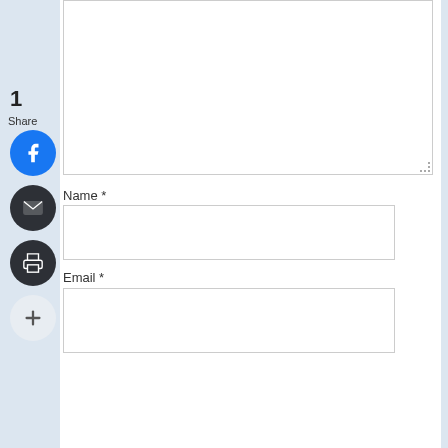1
Share
[Figure (illustration): Blue circular Facebook share button]
[Figure (illustration): Dark circular email button]
[Figure (illustration): Dark circular print button]
[Figure (illustration): Light gray circular more (+) button]
Name *
Email *